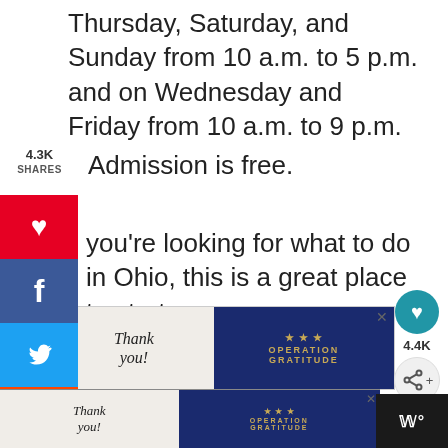Thursday, Saturday, and Sunday from 10 a.m. to 5 p.m. and on Wednesday and Friday from 10 a.m. to 9 p.m.
Admission is free.
you're looking for what to do in Ohio, this is a great place to start.
Address: 11150 East Blvd, Cleveland, OH 44106, USA
[Figure (screenshot): Operation Gratitude advertisement banner with 'Thank you!' handwritten text and military/firefighter images]
[Figure (screenshot): Second Operation Gratitude advertisement banner at bottom of page with firefighters and Thank you text]